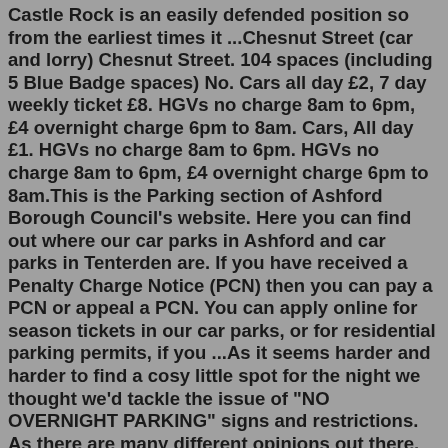Castle Rock is an easily defended position so from the earliest times it ...Chesnut Street (car and lorry) Chesnut Street. 104 spaces (including 5 Blue Badge spaces) No. Cars all day £2, 7 day weekly ticket £8. HGVs no charge 8am to 6pm, £4 overnight charge 6pm to 8am. Cars, All day £1. HGVs no charge 8am to 6pm. HGVs no charge 8am to 6pm, £4 overnight charge 6pm to 8am.This is the Parking section of Ashford Borough Council's website. Here you can find out where our car parks in Ashford and car parks in Tenterden are. If you have received a Penalty Charge Notice (PCN) then you can pay a PCN or appeal a PCN. You can apply online for season tickets in our car parks, or for residential parking permits, if you ...As it seems harder and harder to find a cosy little spot for the night we thought we'd tackle the issue of "NO OVERNIGHT PARKING" signs and restrictions. As there are many different opinions out there, and there is no actual law preventing you from sleeping in your vehicle, it's no wonder it has most people's heads in a pickle. (View our petition here)